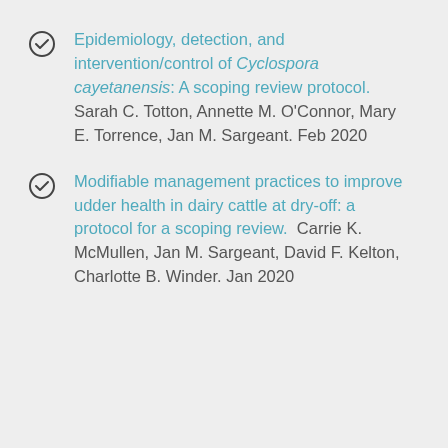Epidemiology, detection, and intervention/control of Cyclospora cayetanensis: A scoping review protocol. Sarah C. Totton, Annette M. O'Connor, Mary E. Torrence, Jan M. Sargeant. Feb 2020
Modifiable management practices to improve udder health in dairy cattle at dry-off: a protocol for a scoping review. Carrie K. McMullen, Jan M. Sargeant, David F. Kelton, Charlotte B. Winder. Jan 2020